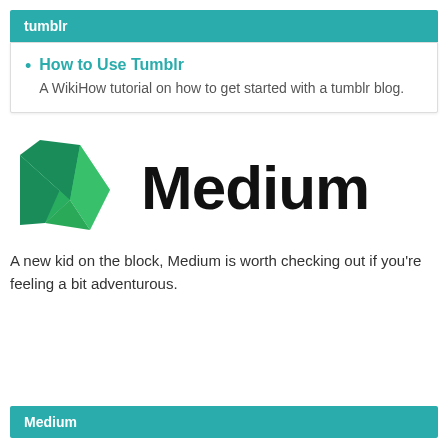tumblr
How to Use Tumblr
A WikiHow tutorial on how to get started with a tumblr blog.
[Figure (logo): Medium logo — green geometric M shape alongside the word 'Medium' in large black sans-serif text]
A new kid on the block, Medium is worth checking out if you're feeling a bit adventurous.
Medium